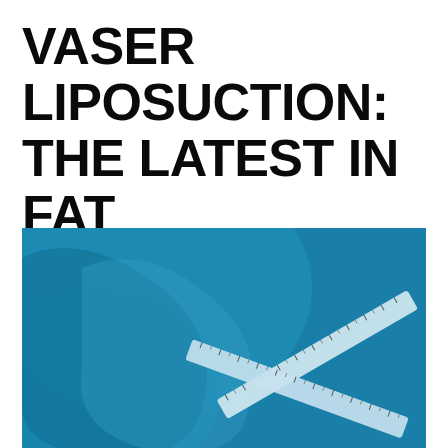VASER LIPOSUCTION: THE LATEST IN FAT REDUCTION| LCAS GULF| DUBAI
[Figure (photo): Blue-toned photo showing a person's torso/body with a measuring tape crossed over it, suggesting body measurement in context of fat reduction procedure]